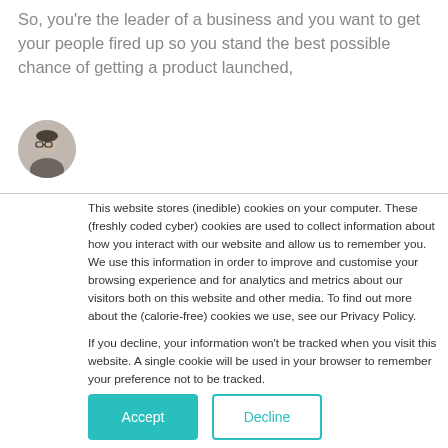So, you're the leader of a business and you want to get your people fired up so you stand the best possible chance of getting a product launched,
[Figure (photo): Circular avatar photo of a man with glasses and short dark hair, wearing a grey top]
This website stores (inedible) cookies on your computer. These (freshly coded cyber) cookies are used to collect information about how you interact with our website and allow us to remember you. We use this information in order to improve and customise your browsing experience and for analytics and metrics about our visitors both on this website and other media. To find out more about the (calorie-free) cookies we use, see our Privacy Policy.

If you decline, your information won't be tracked when you visit this website. A single cookie will be used in your browser to remember your preference not to be tracked.